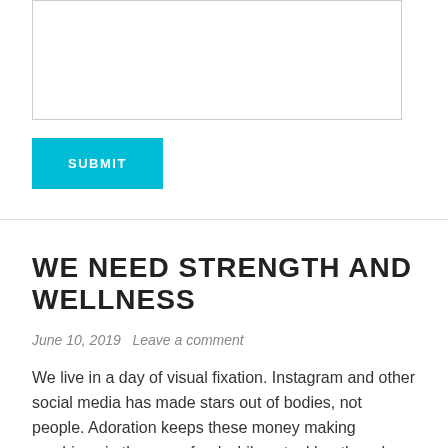[Figure (other): Text input textarea box with resize handle in bottom-right corner]
SUBMIT
WE NEED STRENGTH AND WELLNESS
June 10, 2019   Leave a comment
We live in a day of visual fixation. Instagram and other social media has made stars out of bodies, not people. Adoration keeps these money making machines in the news feed while actual heath and fitness professionals scratch their